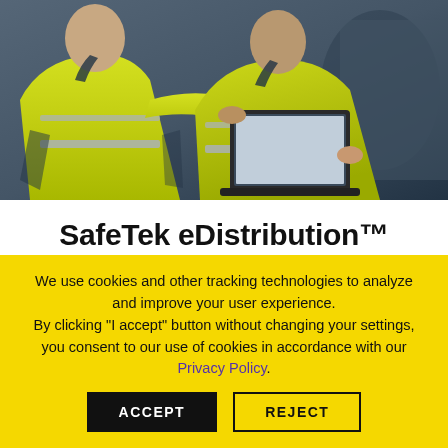[Figure (photo): Two workers in yellow high-visibility jackets examining a laptop together in an industrial setting]
SafeTek eDistribution™
Our SafeTek eDistribution™ technology makes it easy for you to order, monitor, and distribute personal
We use cookies and other tracking technologies to analyze and improve your user experience.
By clicking "I accept" button without changing your settings, you consent to our use of cookies in accordance with our Privacy Policy.
ACCEPT
REJECT